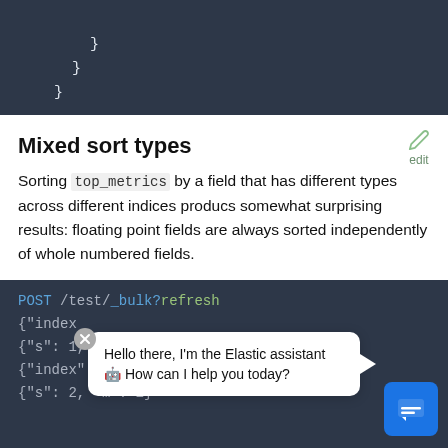[Figure (screenshot): Dark code editor block showing closing curly braces: indented } } }]
Mixed sort types
Sorting top_metrics by a field that has different types across different indices producs somewhat surprising results: floating point fields are always sorted independently of whole numbered fields.
[Figure (screenshot): Dark code editor block showing POST /test/_bulk?refresh with JSON lines, overlaid with a chat assistant bubble saying 'Hello there, I'm the Elastic assistant 🤖 How can I help you today?' and a blue chat icon button.]